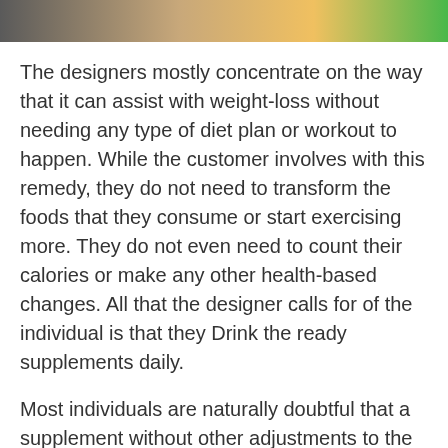[Figure (photo): Cropped photo strip showing a person, likely a woman with blonde hair, and a green background element.]
The designers mostly concentrate on the way that it can assist with weight-loss without needing any type of diet plan or workout to happen. While the customer involves with this remedy, they do not need to transform the foods that they consume or start exercising more. They do not even need to count their calories or make any other health-based changes. All that the designer calls for of the individual is that they Drink the ready supplements daily.
Most individuals are naturally doubtful that a supplement without other adjustments to the body might really achieve success in weight loss. Nevertheless, the makers have actually established